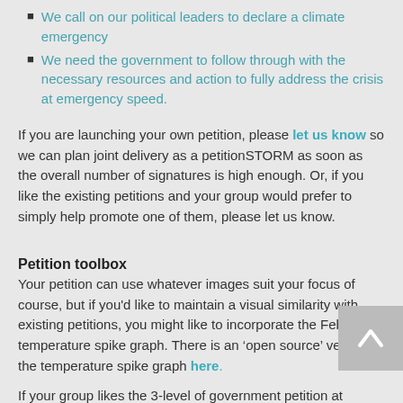We call on our political leaders to declare a climate emergency
We need the government to follow through with the necessary resources and action to fully address the crisis at emergency speed.
If you are launching your own petition, please let us know so we can plan joint delivery as a petitionSTORM as soon as the overall number of signatures is high enough. Or, if you like the existing petitions and your group would prefer to simply help promote one of them, please let us know.
Petition toolbox
Your petition can use whatever images suit your focus of course, but if you'd like to maintain a visual similarity with existing petitions, you might like to incorporate the February temperature spike graph. There is an ‘open source’ version of the temperature spike graph here.
If your group likes the 3-level of government petition at cedamia.org/sign, it can be embedded in your group’s website, if you wish, either with or without the surrounding context. It has a